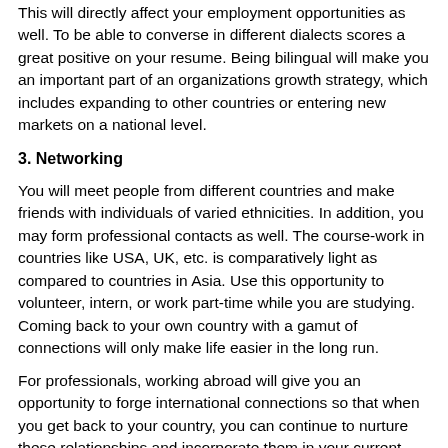This will directly affect your employment opportunities as well. To be able to converse in different dialects scores a great positive on your resume. Being bilingual will make you an important part of an organizations growth strategy, which includes expanding to other countries or entering new markets on a national level.
3. Networking
You will meet people from different countries and make friends with individuals of varied ethnicities. In addition, you may form professional contacts as well. The course-work in countries like USA, UK, etc. is comparatively light as compared to countries in Asia. Use this opportunity to volunteer, intern, or work part-time while you are studying. Coming back to your own country with a gamut of connections will only make life easier in the long run.
For professionals, working abroad will give you an opportunity to forge international connections so that when you get back to your country, you can continue to nurture these relationships and incorporate them in your current job.